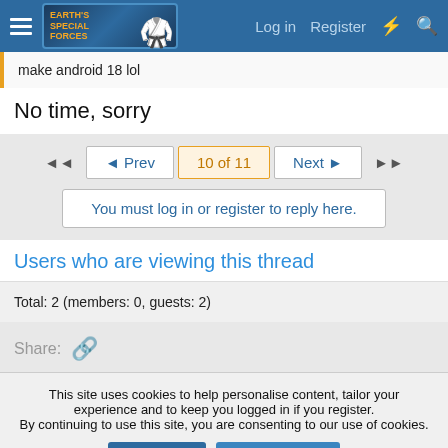Earth's Special Forces forum — Log in  Register
make android 18 lol
No time, sorry
◄◄  ◄ Prev  10 of 11  Next ►  ►►
You must log in or register to reply here.
Users who are viewing this thread
Total: 2 (members: 0, guests: 2)
Share:
This site uses cookies to help personalise content, tailor your experience and to keep you logged in if you register.
By continuing to use this site, you are consenting to our use of cookies.
✔ Accept   Learn more...